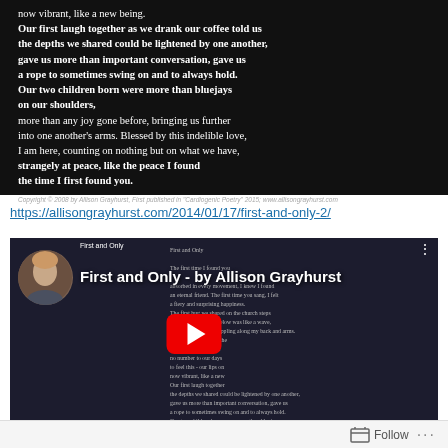[Figure (screenshot): Black background image showing the end of a poem by Allison Grayhurst with white text, ending with copyright notice]
https://allisongrayhurst.com/2014/01/17/first-and-only-2/
[Figure (screenshot): YouTube video thumbnail for 'First and Only - by Allison Grayhurst' showing a person's face, poem text in background, and a red play button in the center]
Follow